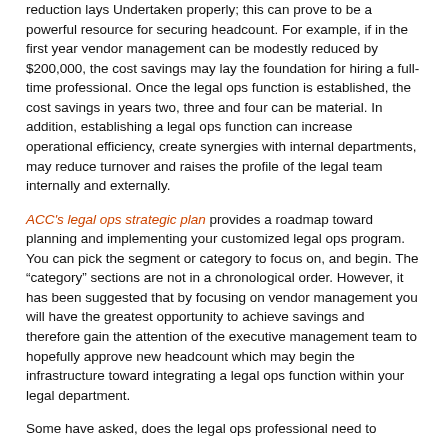reduction lays Undertaken properly; this can prove to be a powerful resource for securing headcount. For example, if in the first year vendor management can be modestly reduced by $200,000, the cost savings may lay the foundation for hiring a full-time professional. Once the legal ops function is established, the cost savings in years two, three and four can be material. In addition, establishing a legal ops function can increase operational efficiency, create synergies with internal departments, may reduce turnover and raises the profile of the legal team internally and externally.
ACC's legal ops strategic plan provides a roadmap toward planning and implementing your customized legal ops program. You can pick the segment or category to focus on, and begin. The “category” sections are not in a chronological order. However, it has been suggested that by focusing on vendor management you will have the greatest opportunity to achieve savings and therefore gain the attention of the executive management team to hopefully approve new headcount which may begin the infrastructure toward integrating a legal ops function within your legal department.
Some have asked, does the legal ops professional need to